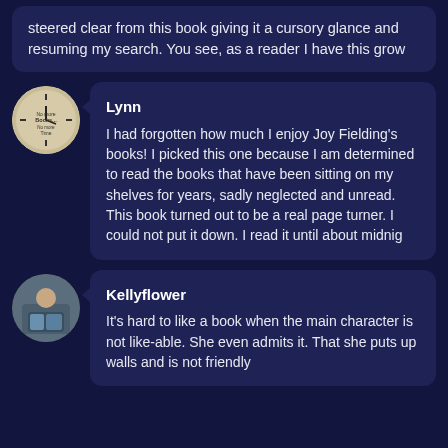steered clear from this book giving it a cursory glance and resuming my search. You see, as a reader I have this grow
[Figure (photo): Circular avatar showing a clock face with text 'No more books... No more Time']
Lynn
I had forgotten how much I enjoy Joy Fielding's books! I picked this one because I am determined to read the books that have been sitting on my shelves for years, sadly neglected and unread. This book turned out to be a real page turner. I could not put it down. I read it until about midnig
[Figure (photo): Circular avatar showing a person reading with books and a tablet]
Kellyflower
It's hard to like a book when the main character is not like-able. She even admits it. That she puts up walls and is not friendly